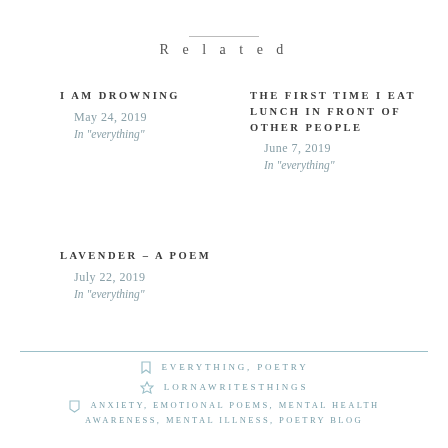Related
I AM DROWNING
May 24, 2019
In "everything"
THE FIRST TIME I EAT LUNCH IN FRONT OF OTHER PEOPLE
June 7, 2019
In "everything"
LAVENDER – A POEM
July 22, 2019
In "everything"
EVERYTHING, POETRY
LORNAWRITESTHINGS
ANXIETY, EMOTIONAL POEMS, MENTAL HEALTH AWARENESS, MENTAL ILLNESS, POETRY BLOG